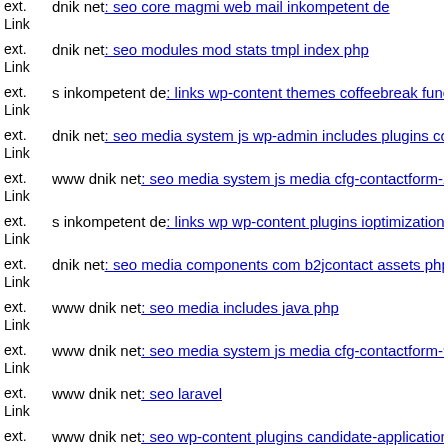ext. Link dnik net: seo core magmi web mail inkompetent de
ext. Link dnik net: seo modules mod stats tmpl index php
ext. Link s inkompetent de: links wp-content themes coffeebreak functio
ext. Link dnik net: seo media system js wp-admin includes plugins conte
ext. Link www dnik net: seo media system js media cfg-contactform-2 in
ext. Link s inkompetent de: links wp wp-content plugins ioptimization io
ext. Link dnik net: seo media components com b2jcontact assets phpthun
ext. Link www dnik net: seo media includes java php
ext. Link www dnik net: seo media system js media cfg-contactform-9gl
ext. Link www dnik net: seo laravel
ext. Link www dnik net: seo wp-content plugins candidate-application-fo
ext. www dnik net: seo libs php